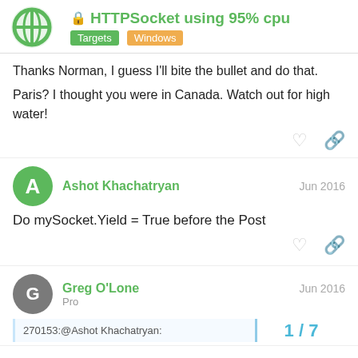HTTPSocket using 95% cpu — Targets, Windows
Thanks Norman, I guess I'll bite the bullet and do that.

Paris? I thought you were in Canada. Watch out for high water!
Ashot Khachatryan  Jun 2016
Do mySocket.Yield = True before the Post
Greg O'Lone  Jun 2016
Pro
270153:@Ashot Khachatryan:
1 / 7